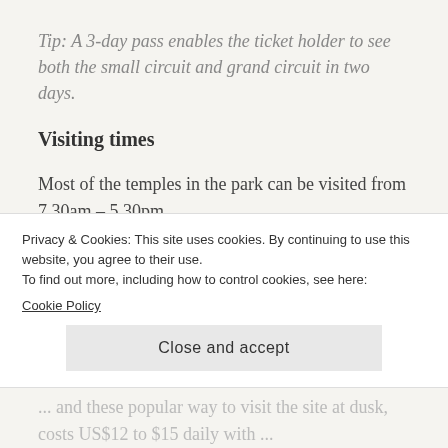Tip: A 3-day pass enables the ticket holder to see both the small circuit and grand circuit in two days.
Visiting times
Most of the temples in the park can be visited from 7.30am – 5.30pm.
However, Phnom Bakheng, Pre Rup, Angkor Wat and Srah Srang can be visited from 5am
Privacy & Cookies: This site uses cookies. By continuing to use this website, you agree to their use.
To find out more, including how to control cookies, see here:
Cookie Policy
Close and accept
... and these popular way to visit the site at dusk, costs US$12 to $15 daily with ...